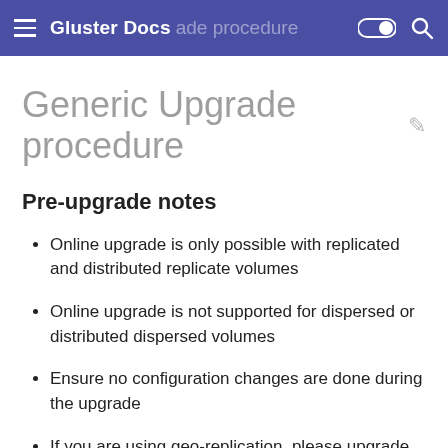Gluster Docs ade procedure
Generic Upgrade procedure
Pre-upgrade notes
Online upgrade is only possible with replicated and distributed replicate volumes
Online upgrade is not supported for dispersed or distributed dispersed volumes
Ensure no configuration changes are done during the upgrade
If you are using geo-replication, please upgrade the slave cluster(s) before upgrading the master